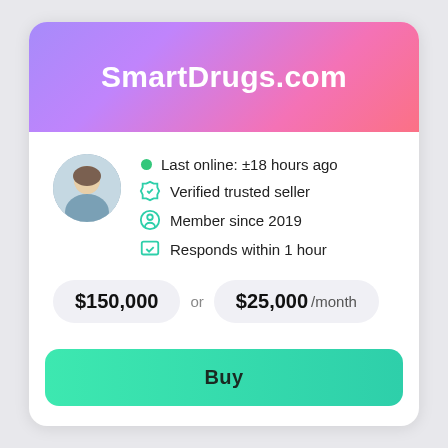SmartDrugs.com
[Figure (photo): Profile avatar photo of a woman in business attire]
Last online: ±18 hours ago
Verified trusted seller
Member since 2019
Responds within 1 hour
$150,000  or  $25,000 /month
Buy